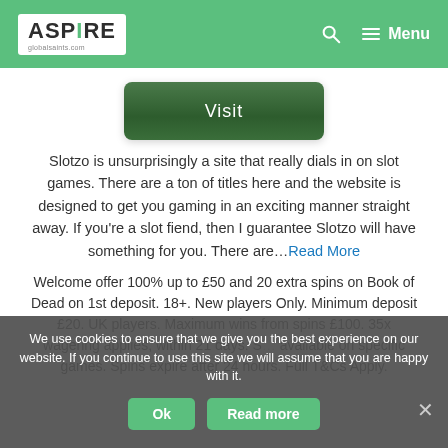ASPIRE globalsaints.com — Menu
[Figure (other): Green Visit button]
Slotzo is unsurprisingly a site that really dials in on slot games. There are a ton of titles here and the website is designed to get you gaming in an exciting manner straight away. If you're a slot fiend, then I guarantee Slotzo will have something for you. There are…Read More
Welcome offer 100% up to £50 and 20 extra spins on Book of Dead on 1st deposit. 18+. New players Only. Minimum deposit £20. UK players. Maximum wins from spins £100. 35x wagering applies, within 21 days. Spins available on specific games. Spins expire after 24 hours. Full T&Cs Apply.
We use cookies to ensure that we give you the best experience on our website. If you continue to use this site we will assume that you are happy with it.